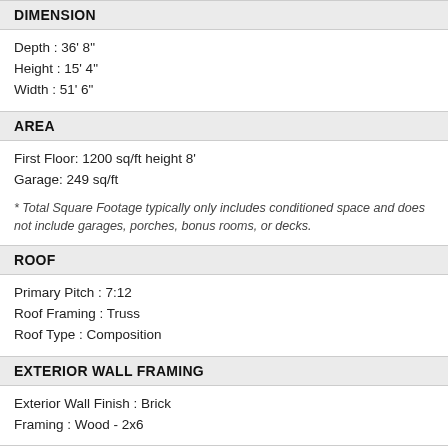DIMENSION
Depth : 36' 8"
Height : 15' 4"
Width : 51' 6"
AREA
First Floor: 1200 sq/ft height 8'
Garage: 249 sq/ft
* Total Square Footage typically only includes conditioned space and does not include garages, porches, bonus rooms, or decks.
ROOF
Primary Pitch : 7:12
Roof Framing : Truss
Roof Type : Composition
EXTERIOR WALL FRAMING
Exterior Wall Finish : Brick
Framing : Wood - 2x6